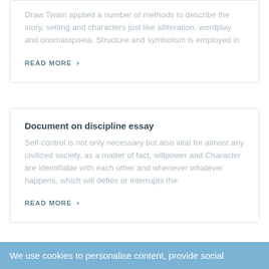Draw Twain applied a number of methods to describe the story, setting and characters just like alliteration, wordplay and onomatopoeia. Structure and symbolism is employed in
READ MORE ›
Document on discipline essay
Self-control is not only necessary but also vital for almost any civilized society, as a matter of fact, willpower and Character are identifiable with each other and whenever whatever happens, which will defies or interrupts the
READ MORE ›
We use cookies to personalise content, provide social